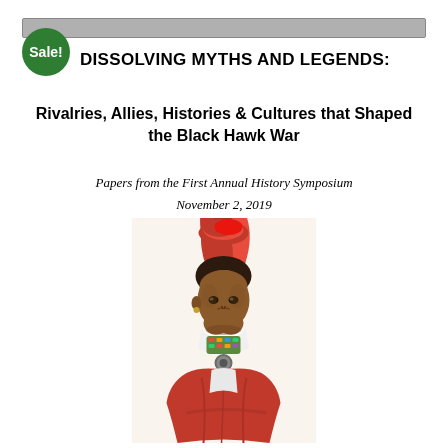[Figure (other): Gray horizontal banner/bar at top of page]
[Figure (other): Green circular Sale badge/sticker]
DISSOLVING MYTHS AND LEGENDS:
Rivalries, Allies, Histories & Cultures that Shaped the Black Hawk War
Papers from the First Annual History Symposium
November 2, 2019
[Figure (illustration): Portrait illustration of a Native American man (Black Hawk) wearing a red feathered headdress, white shirt with decorative collar/medal, and red draped garment, arms crossed.]